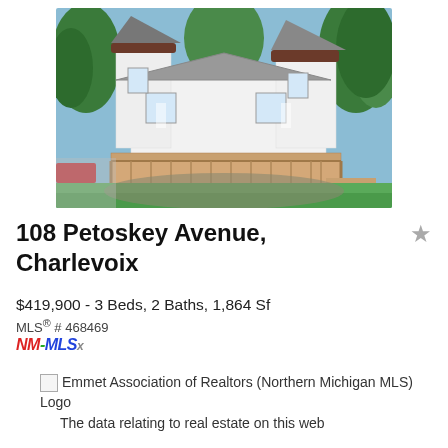[Figure (photo): Exterior photo of a white Victorian-style house with a wraparound deck, metal roof, and tower feature, surrounded by green lawn and trees]
108 Petoskey Avenue, Charlevoix
$419,900 - 3 Beds, 2 Baths, 1,864 Sf
MLS® # 468469
[Figure (logo): NM-MLSx logo in colored text]
Emmet Association of Realtors (Northern Michigan MLS) Logo
The data relating to real estate on this web